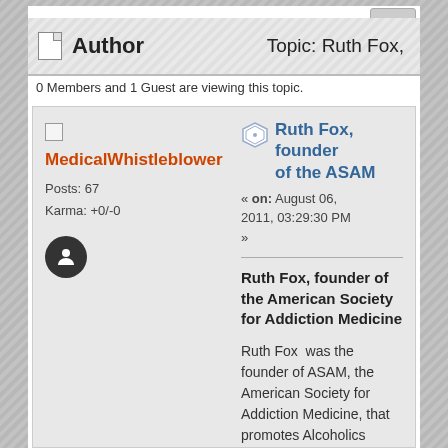Author    Topic: Ruth Fox,
0 Members and 1 Guest are viewing this topic.
MedicalWhistleblower
Posts: 67
Karma: +0/-0
Ruth Fox, founder of the ASAM
« on: August 06, 2011, 03:29:30 PM »
Ruth Fox, founder of the American Society for Addiction Medicine
Ruth Fox  was the founder of ASAM, the American Society for Addiction Medicine, that promotes Alcoholics Anonymous (A.A.) and the 12-Step treatment approach for alcoholism.  ASAM's